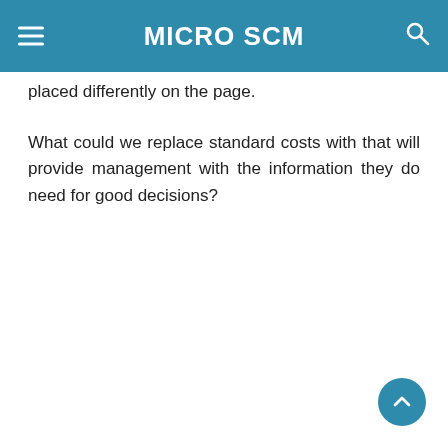MICRO SCM
placed differently on the page.
What could we replace standard costs with that will provide management with the information they do need for good decisions?